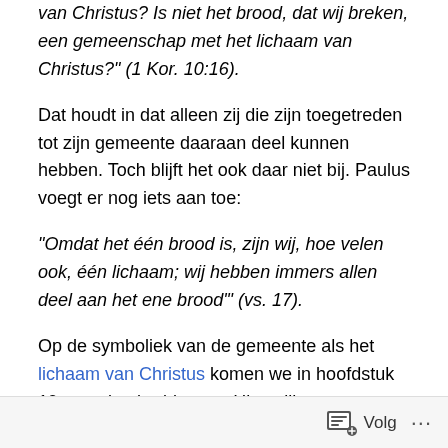van Christus? Is niet het brood, dat wij breken, een gemeenschap met het lichaam van Christus?" (1 Kor. 10:16).
Dat houdt in dat alleen zij die zijn toegetreden tot zijn gemeente daaraan deel kunnen hebben. Toch blijft het ook daar niet bij. Paulus voegt er nog iets aan toe:
“Omdat het één brood is, zijn wij, hoe velen ook, één lichaam; wij hebben immers allen deel aan het ene brood’’ (vs. 17).
Op de symboliek van de gemeente als het lichaam van Christus komen we in hoofdstuk 19 nog uitgebreid terug. Hier willen we volstaan met erop te wijzen dat het ritueel van het ‘breken van het brood’ kennelijk ook betrekking
Volg